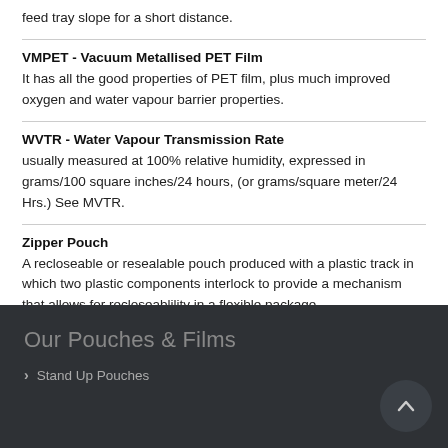feed tray slope for a short distance.
VMPET - Vacuum Metallised PET Film
It has all the good properties of PET film, plus much improved oxygen and water vapour barrier properties.
WVTR - Water Vapour Transmission Rate
usually measured at 100% relative humidity, expressed in grams/100 square inches/24 hours, (or grams/square meter/24 Hrs.) See MVTR.
Zipper Pouch
A recloseable or resealable pouch produced with a plastic track in which two plastic components interlock to provide a mechanism that allows for recloseablility in a flexible package.
Our Pouches & Films
> Stand Up Pouches